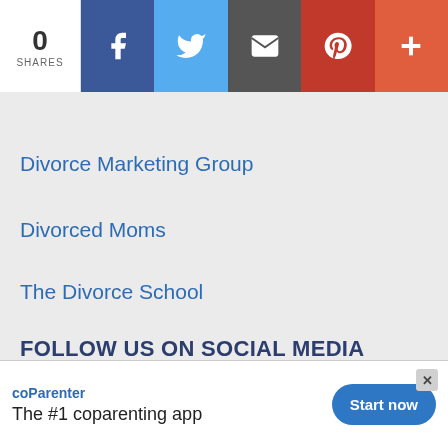[Figure (infographic): Social share bar with 0 shares count, Facebook (blue), Twitter (light blue), Email (dark gray), Pinterest (dark red), and more (+) (orange-red) buttons]
[Figure (infographic): Accessibility (wheelchair) icon button, blue square]
Divorce Marketing Group
Divorced Moms
The Divorce School
FOLLOW US ON SOCIAL MEDIA
[Figure (infographic): Row of 5 social media icons: Facebook, Twitter, Pinterest, LinkedIn, Instagram]
Contact Us | Writer's Guidelines
[Figure (infographic): Ad banner: coParenter logo, 'The #1 coparenting app', Start now button, close X button]